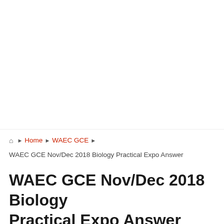[Figure (other): Advertisement or blank area at the top of the page]
🏠 Home ▶ WAEC GCE ▶ WAEC GCE Nov/Dec 2018 Biology Practical Expo Answer
WAEC GCE Nov/Dec 2018 Biology Practical Expo Answer